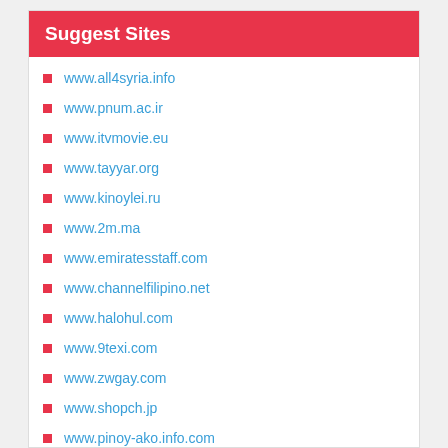Suggest Sites
www.all4syria.info
www.pnum.ac.ir
www.itvmovie.eu
www.tayyar.org
www.kinoylei.ru
www.2m.ma
www.emiratesstaff.com
www.channelfilipino.net
www.halohul.com
www.9texi.com
www.zwgay.com
www.shopch.jp
www.pinoy-ako.info.com
www.winbeve.net
www.shahvani.com
www.521gc.info
www.rahyar120.ir